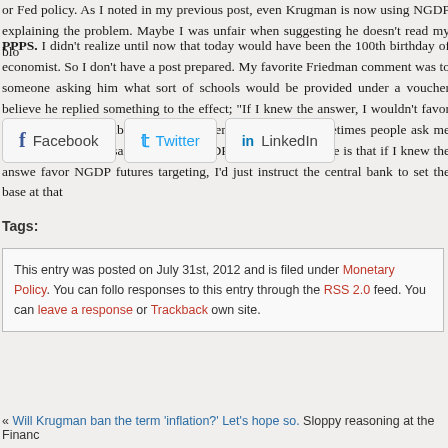or Fed policy. As I noted in my previous post, even Krugman is now using NGDP explaining the problem. Maybe I was unfair when suggesting he doesn't read my blo
PPPS. I didn't realize until now that today would have been the 100th birthday of economist. So I don't have a post prepared. My favorite Friedman comment was to someone asking him what sort of schools would be provided under a voucher believe he replied something to the effect; "If I knew the answer, I wouldn't favor v just instruct the public schools to operate that way." Sometimes people ask me wha would be necessary to hit my NGDP target. My response is that if I knew the answe favor NGDP futures targeting, I'd just instruct the central bank to set the base at that
[Figure (infographic): Social sharing buttons: Facebook, Twitter, LinkedIn]
Tags:
This entry was posted on July 31st, 2012 and is filed under Monetary Policy. You can follo responses to this entry through the RSS 2.0 feed. You can leave a response or Trackback own site.
« Will Krugman ban the term 'inflation?' Let's hope so.  Sloppy reasoning at the Financ